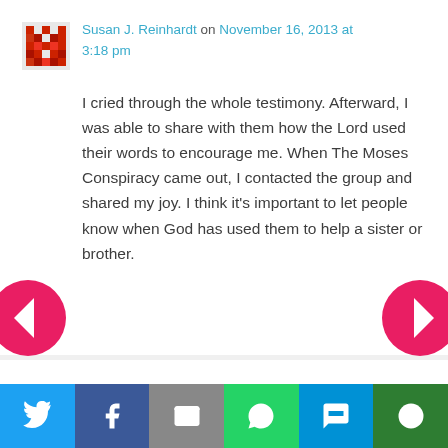[Figure (illustration): Red pixelated avatar/profile icon]
Susan J. Reinhardt on November 16, 2013 at 3:18 pm
I cried through the whole testimony. Afterward, I was able to share with them how the Lord used their words to encourage me. When The Moses Conspiracy came out, I contacted the group and shared my joy. I think it's important to let people know when God has used them to help a sister or brother.
Recommended
Morning Person or Night Owl
[Figure (infographic): Social share bar with Twitter, Facebook, Email, WhatsApp, SMS, and More buttons]